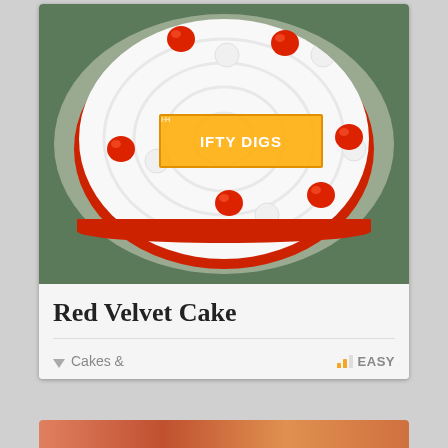[Figure (photo): A round Red Velvet Cake with white whipped cream frosting decorated with red cherries and swirl patterns, displayed on a plate. A watermark logo reading FIFTY DIGS is overlaid on the cake.]
Red Velvet Cake
Cakes &
EASY